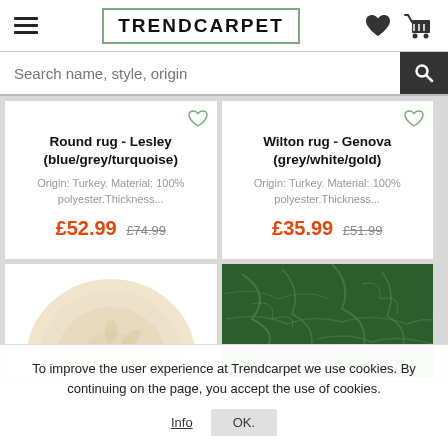TRENDCARPET
Search name, style, origin
Round rug - Lesley (blue/grey/turquoise)
Origin: Turkey. Material: 100% polyester.Thickness...
£52.99  £74.99
Wilton rug - Genova (grey/white/gold)
Origin: Turkey. Material: 100% polyester.Thickness...
£35.99  £51.99
[Figure (photo): Round rug with cream/beige floral pattern]
[Figure (photo): Dark green rug with marbled/cracked pattern]
To improve the user experience at Trendcarpet we use cookies. By continuing on the page, you accept the use of cookies.